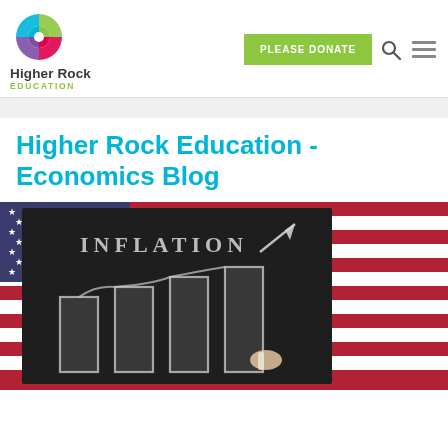[Figure (logo): Higher Rock Education logo with colorful circular icon and text]
PLEASE DONATE
Higher Rock Education - Economics Blog
[Figure (photo): Photo of a chalkboard with 'INFLATION' written and a bar chart drawn in chalk, with an upward arrow. American flag visible in background.]